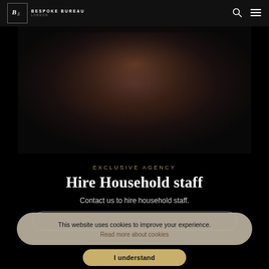Bespoke Bureau London
[Figure (photo): Dark moody hero image showing a person, heavily shadowed with warm tones]
Exclusive agency
Hire Household staff
Contact us to hire household staff.
This website uses cookies to improve your experience. Read more about cookies
I understand